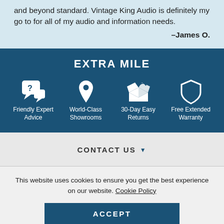and beyond standard. Vintage King Audio is definitely my go to for all of my audio and information needs.
–James O.
EXTRA MILE
[Figure (infographic): Four white icons on dark blue background: chat/question bubble icon (Friendly Expert Advice), location pin icon (World-Class Showrooms), open box icon (30-Day Easy Returns), shield icon (Free Extended Warranty)]
CONTACT US ▼
This website uses cookies to ensure you get the best experience on our website. Cookie Policy
ACCEPT